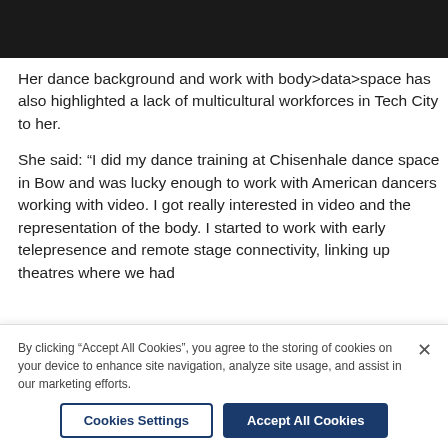[Figure (photo): Black bar / image area at top of page]
Her dance background and work with body>data>space has also highlighted a lack of multicultural workforces in Tech City to her.
She said: “I did my dance training at Chisenhale dance space in Bow and was lucky enough to work with American dancers working with video. I got really interested in video and the representation of the body. I started to work with early telepresence and remote stage connectivity, linking up theatres where we had
By clicking “Accept All Cookies”, you agree to the storing of cookies on your device to enhance site navigation, analyze site usage, and assist in our marketing efforts.
Cookies Settings
Accept All Cookies